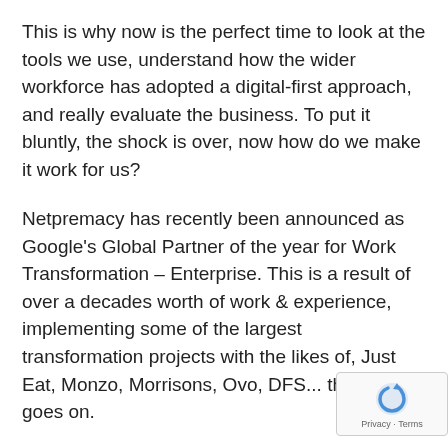This is why now is the perfect time to look at the tools we use, understand how the wider workforce has adopted a digital-first approach, and really evaluate the business. To put it bluntly, the shock is over, now how do we make it work for us?
Netpremacy has recently been announced as Google's Global Partner of the year for Work Transformation – Enterprise. This is a result of over a decades worth of work & experience, implementing some of the largest transformation projects with the likes of, Just Eat, Monzo, Morrisons, Ovo, DFS... the list goes on.
With this in mind, we wanted to share a few things remember/consider when looking at a digital